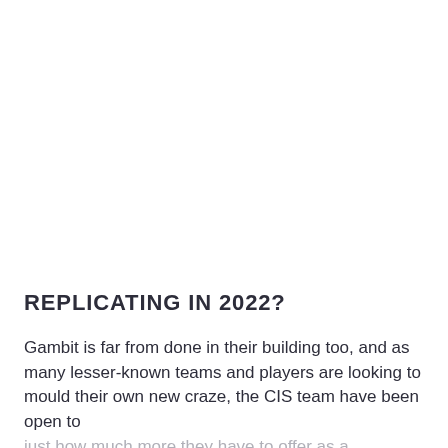REPLICATING IN 2022?
Gambit is far from done in their building too, and as many lesser-known teams and players are looking to mould their own new craze, the CIS team have been open to just how much more they have to offer as a collective.